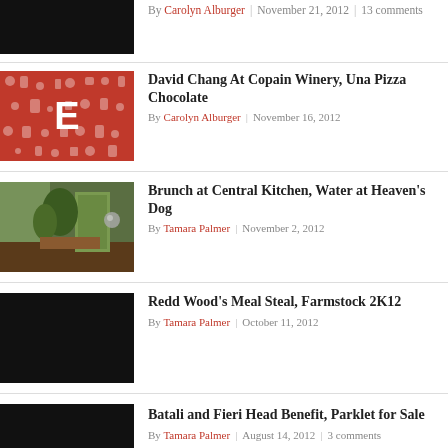[Figure (photo): Black thumbnail image (partially visible, top of page)]
By Carolyn Alburger | November 21, 2012 | 13 comments
[Figure (illustration): Red graphic thumbnail with large white letter E and food icon pattern]
David Chang At Copain Winery, Una Pizza Chocolate
By Carolyn Alburger | November 16, 2012
[Figure (photo): Restaurant interior photo showing plants, wood furniture, and a green wall panel]
Brunch at Central Kitchen, Water at Heaven's Dog
By Tamara Palmer | November 2, 2012
[Figure (photo): Black thumbnail image]
Redd Wood's Meal Steal, Farmstock 2K12
By Tamara Palmer | October 11, 2012
[Figure (photo): Black thumbnail image (partially visible, bottom of page)]
Batali and Fieri Head Benefit, Parklet for Sale
By Tamara Palmer | August 14, 2012 | 3 comments